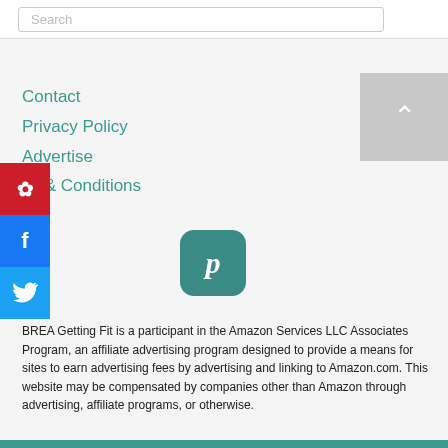Search
Contact
Privacy Policy
Advertise
ns & Conditions
[Figure (illustration): Social sharing sidebar with Pinterest (red), Facebook (blue), Twitter (light blue) buttons on left edge]
[Figure (logo): Pinterest rounded square icon in teal color]
BREA Getting Fit is a participant in the Amazon Services LLC Associates Program, an affiliate advertising program designed to provide a means for sites to earn advertising fees by advertising and linking to Amazon.com. This website may be compensated by companies other than Amazon through advertising, affiliate programs, or otherwise.